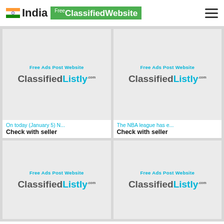India Free ClassifiedWebsite
[Figure (screenshot): ClassifiedListly ad card - Free Ads Post Website, ClassifiedListly.com logo]
On today (January 5) N...
Check with seller
[Figure (screenshot): ClassifiedListly ad card - Free Ads Post Website, ClassifiedListly.com logo]
The NBA league has e...
Check with seller
[Figure (screenshot): ClassifiedListly ad card - Free Ads Post Website, ClassifiedListly.com logo (partial)]
[Figure (screenshot): ClassifiedListly ad card - Free Ads Post Website, ClassifiedListly.com logo (partial)]